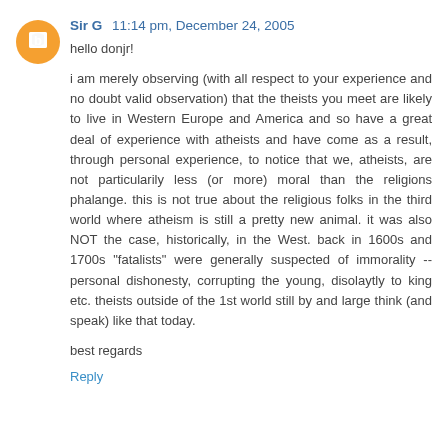Sir G  11:14 pm, December 24, 2005
hello donjr!
i am merely observing (with all respect to your experience and no doubt valid observation) that the theists you meet are likely to live in Western Europe and America and so have a great deal of experience with atheists and have come as a result, through personal experience, to notice that we, atheists, are not particularily less (or more) moral than the religions phalange. this is not true about the religious folks in the third world where atheism is still a pretty new animal. it was also NOT the case, historically, in the West. back in 1600s and 1700s "fatalists" were generally suspected of immorality -- personal dishonesty, corrupting the young, disolaytly to king etc. theists outside of the 1st world still by and large think (and speak) like that today.
best regards
Reply